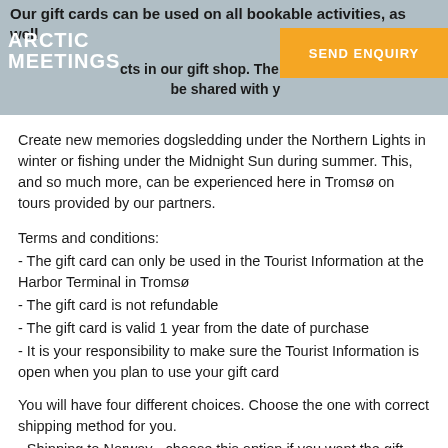Our gift cards can be used on all bookable activities, as well as products in our gift shop. The ... give ... can be shared with y...
Create new memories dogsledding under the Northern Lights in winter or fishing under the Midnight Sun during summer. This, and so much more, can be experienced here in Tromsø on tours provided by our partners.
Terms and conditions:
- The gift card can only be used in the Tourist Information at the Harbor Terminal in Tromsø
- The gift card is not refundable
- The gift card is valid 1 year from the date of purchase
- It is your responsibility to make sure the Tourist Information is open when you plan to use your gift card
You will have four different choices. Choose the one with correct shipping method for you.
- Shipping to Norway - choose this option if you want the gift card shipped to an address in Norway.